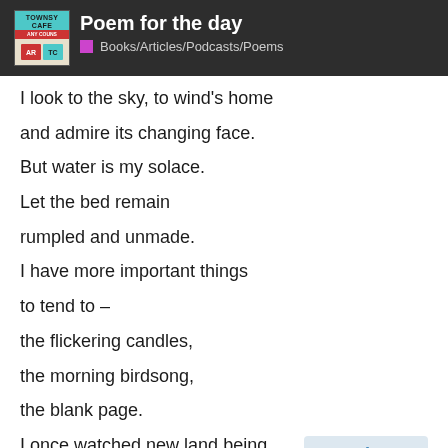Poem for the day — Books/Articles/Podcasts/Poems
I look to the sky, to wind's home

and admire its changing face.

But water is my solace.

Let the bed remain

rumpled and unmade.

I have more important things

to tend to –

the flickering candles,

the morning birdsong,

the blank page.

I once watched new land being born,
500 / 548